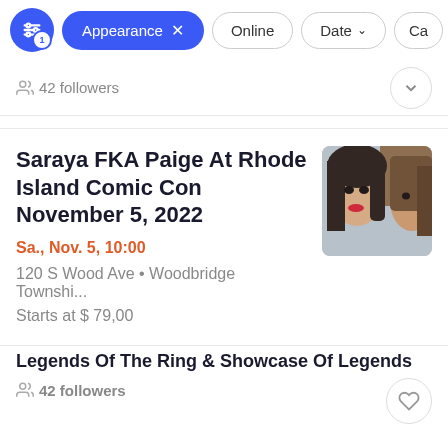Appearance × | Online | Date ▾ | Ca...
42 followers
Saraya FKA Paige At Rhode Island Comic Con November 5, 2022
Sa., Nov. 5, 10:00
120 S Wood Ave • Woodbridge Townshi...
Starts at $ 79,00
[Figure (photo): Close-up photo of a woman with dark wavy hair and red lipstick]
Legends Of The Ring & Showcase Of Legends
42 followers